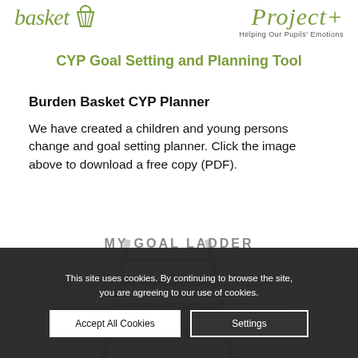[Figure (logo): Burden Basket logo with olive green italic text and basket icon]
[Figure (logo): Project+ logo with olive green italic text and tagline 'Helping Our Pupils' Emotions']
CYP Goal Setting and Planning Tool
Burden Basket CYP Planner
We have created a children and young persons change and goal setting planner. Click the image above to download a free copy (PDF).
[Figure (illustration): My Goal Ladder document preview with fields for My deadline and My signature, partially obscured by cookie consent banner]
This site uses cookies. By continuing to browse the site, you are agreeing to our use of cookies.
Accept All Cookies   Settings